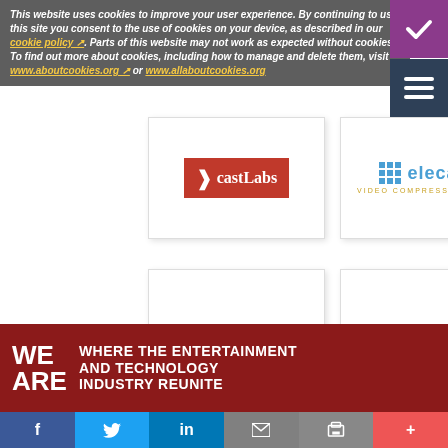This website uses cookies to improve your user experience. By continuing to use this site you consent to the use of cookies on your device, as described in our cookie policy. Parts of this website may not work as expected without cookies. To find out more about cookies, including how to manage and delete them, visit www.aboutcookies.org or www.allaboutcookies.org
[Figure (logo): castLabs logo - red background with white chevron arrow and castLabs text]
[Figure (logo): Elecard logo - blue dot grid with elecard text and VIDEO COMPRESSION GURU subtitle]
[Figure (logo): G & L logo - dark navy G, orange ampersand, dark navy L]
[Figure (logo): mwareTV logo - blue circular icon with mwareTV text]
WE ARE WHERE THE ENTERTAINMENT AND TECHNOLOGY INDUSTRY REUNITE